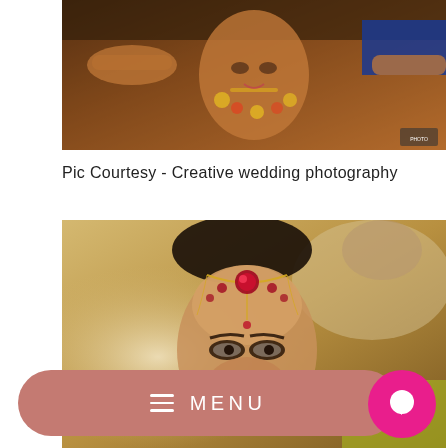[Figure (photo): Wedding photo of a bride being dressed, with hands arranging her hair and floral jewelry, warm tones, Indian wedding ceremony]
Pic Courtesy - Creative wedding photography
[Figure (photo): Close-up wedding photo of a bride wearing a maang tikka (head jewelry) with red and gold elements, looking upward, groom blurred in background]